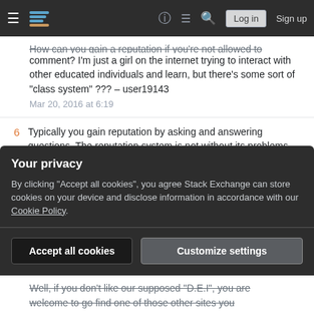Stack Exchange navigation bar with Log in and Sign up buttons
How can you gain a reputation if you're not allowed to comment? I'm just a girl on the internet trying to interact with other educated individuals and learn, but there's some sort of "class system" ??? – user19143
Mar 20, 2016 at 6:19
6  Typically you gain reputation by asking and answering questions. The reputation system is not without its problems, but it has its advantages as well. For example, it democratizes site management. – Obie 2.0
Mar 20, 2016 at 6:20
1  Maybe he's describing that an Answer was really a comment, and he couldn't post comments, but the content was not suitable for an Answer. So, an answer...
Your privacy
By clicking "Accept all cookies", you agree Stack Exchange can store cookies on your device and disclose information in accordance with our Cookie Policy.
Accept all cookies   Customize settings
Well, if you don't like our supposed "D.E.I", you are welcome to go find one of those other sites you...